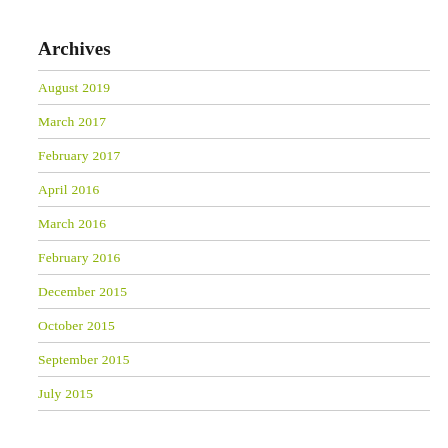Archives
August 2019
March 2017
February 2017
April 2016
March 2016
February 2016
December 2015
October 2015
September 2015
July 2015